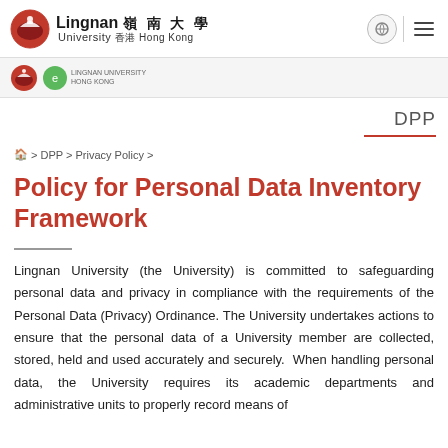[Figure (logo): Lingnan University logo with red circular emblem and Chinese/English text]
[Figure (logo): Small secondary logos in grey bar below main navigation]
DPP
🏠 > DPP > Privacy Policy >
Policy for Personal Data Inventory Framework
Lingnan University (the University) is committed to safeguarding personal data and privacy in compliance with the requirements of the Personal Data (Privacy) Ordinance. The University undertakes actions to ensure that the personal data of a University member are collected, stored, held and used accurately and securely.  When handling personal data, the University requires its academic departments and administrative units to properly record means of